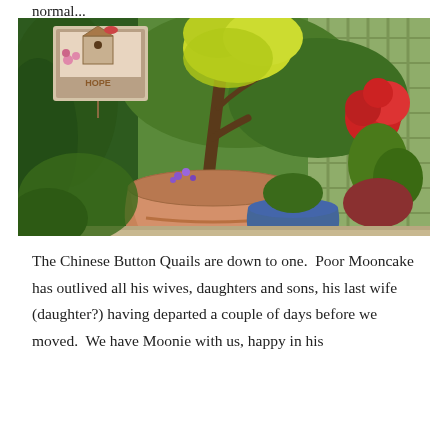normal...
[Figure (photo): A garden scene showing potted plants including a large terracotta pot with a twisted tree/bonsai and small purple flowers, a blue pot with plants, red geraniums and green foliage on the right, a wooden trellis fence in the background, and a decorative sign reading 'HOPE' with a birdhouse and bird illustration hung on the left.]
The Chinese Button Quails are down to one.  Poor Mooncake has outlived all his wives, daughters and sons, his last wife (daughter?) having departed a couple of days before we moved.  We have Moonie with us, happy in his